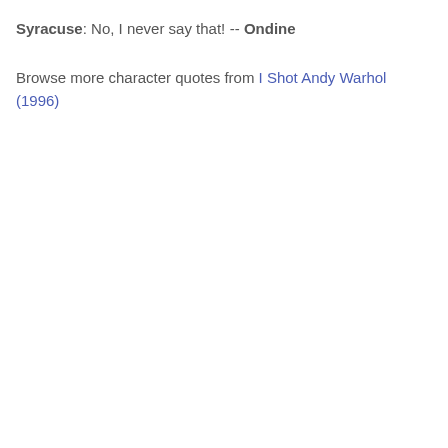Syracuse: No, I never say that!
-- Ondine
Browse more character quotes from I Shot Andy Warhol (1996)